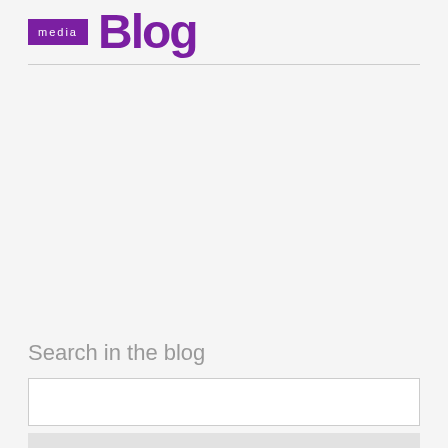media Blog
Search in the blog
[Figure (other): Search input box and button]